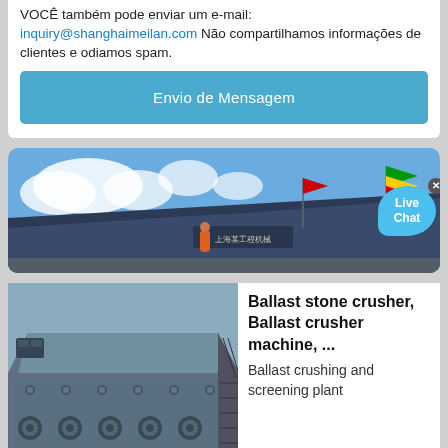VOCÊ também pode enviar um e-mail: inquiry@shanghaimeilan.com Não compartilhamos informações de clientes e odiamos spam.
Envio de Mensagem
[Figure (photo): Industrial mining or crushing machinery on-site with blue sky background and flags visible on top; a worker in orange is visible near the machine]
[Figure (photo): Ballast stone crusher machine - heavy industrial crushing equipment in blue/grey color, shown at an angle revealing the mesh/grate structure on the side]
Ballast stone crusher, Ballast crusher machine, ... Ballast crushing and screening plant